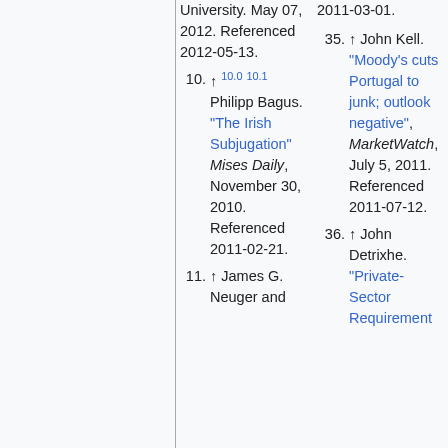University. May 07, 2012. Referenced 2012-05-13.
10. ↑ 10.0 10.1 Philipp Bagus. "The Irish Subjugation" Mises Daily, November 30, 2010. Referenced 2011-02-21.
11. ↑ James G. Neuger and
35. ↑ John Kell. "Moody's cuts Portugal to junk; outlook negative", MarketWatch, July 5, 2011. Referenced 2011-07-12.
36. ↑ John Detrixhe. "Private-Sector Requirement